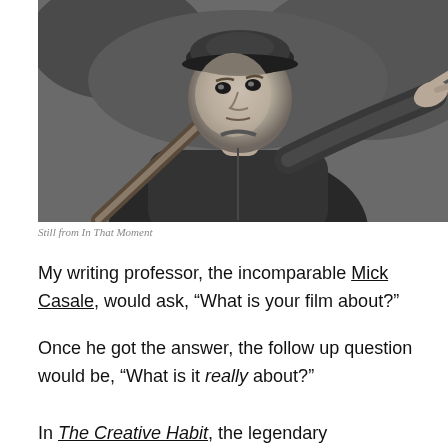[Figure (photo): Black and white film still of a man in a baseball uniform or period jacket, holding a bat over his shoulder and pointing with his other hand, looking upward with intensity.]
Still from In That Moment
My writing professor, the incomparable Mick Casale, would ask, “What is your film about?”
Once he got the answer, the follow up question would be, “What is it really about?”
In The Creative Habit, the legendary